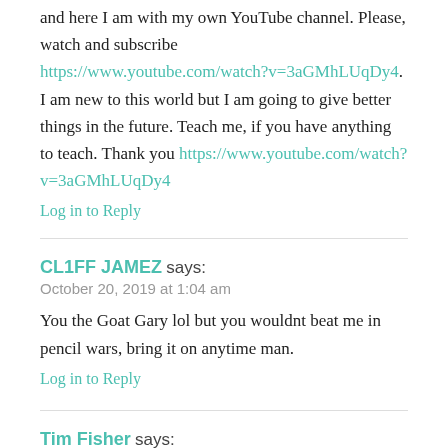and here I am with my own YouTube channel. Please, watch and subscribe https://www.youtube.com/watch?v=3aGMhLUqDy4. I am new to this world but I am going to give better things in the future. Teach me, if you have anything to teach. Thank you https://www.youtube.com/watch?v=3aGMhLUqDy4
Log in to Reply
CL1FF JAMEZ says:
October 20, 2019 at 1:04 am
You the Goat Gary lol but you wouldnt beat me in pencil wars, bring it on anytime man.
Log in to Reply
Tim Fisher says: